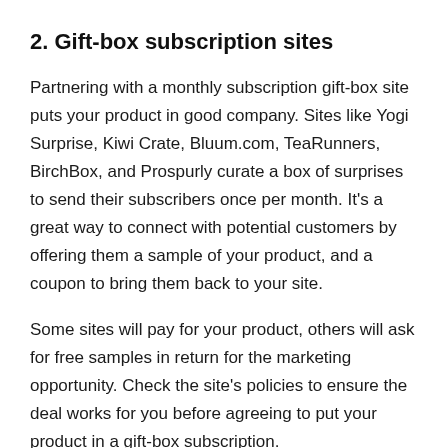2. Gift-box subscription sites
Partnering with a monthly subscription gift-box site puts your product in good company. Sites like Yogi Surprise, Kiwi Crate, Bluum.com, TeaRunners, BirchBox, and Prospurly curate a box of surprises to send their subscribers once per month. It’s a great way to connect with potential customers by offering them a sample of your product, and a coupon to bring them back to your site.
Some sites will pay for your product, others will ask for free samples in return for the marketing opportunity. Check the site’s policies to ensure the deal works for you before agreeing to put your product in a gift-box subscription.